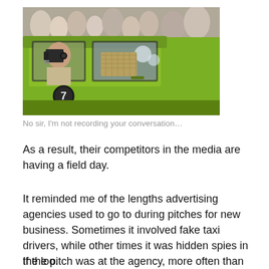[Figure (photo): A man sitting in a green taxi cab holding a camera or recording device up to his face, with a crowd visible in the background. The taxi has a number 7 emblem on the door.]
No sir, I'm not recording your conversation…
As a result, their competitors in the media are having a field day.
It reminded me of the lengths advertising agencies used to go to during pitches for new business. Sometimes it involved fake taxi drivers, while other times it was hidden spies in the loo.
If the pitch was at the agency, more often than not the